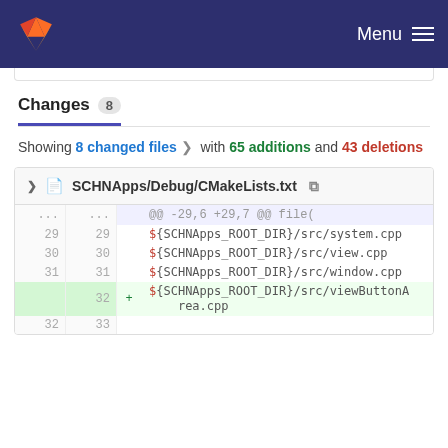GitLab navigation bar with Menu
Changes 8
Showing 8 changed files with 65 additions and 43 deletions
| old | new | op | code |
| --- | --- | --- | --- |
| ... | ... |  | @@ -29,6 +29,7 @@ file( |
| 29 | 29 |  | ${SCHNApps_ROOT_DIR}/src/system.cpp |
| 30 | 30 |  | ${SCHNApps_ROOT_DIR}/src/view.cpp |
| 31 | 31 |  | ${SCHNApps_ROOT_DIR}/src/window.cpp |
|  | 32 | + | ${SCHNApps_ROOT_DIR}/src/viewButtonArea.cpp |
| 32 | 33 |  |  |